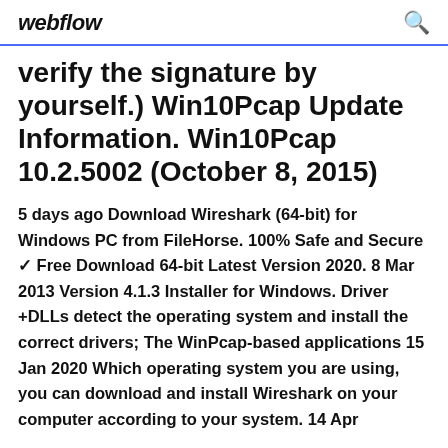webflow
verify the signature by yourself.) Win10Pcap Update Information. Win10Pcap 10.2.5002 (October 8, 2015)
5 days ago Download Wireshark (64-bit) for Windows PC from FileHorse. 100% Safe and Secure ✓ Free Download 64-bit Latest Version 2020. 8 Mar 2013 Version 4.1.3 Installer for Windows. Driver +DLLs detect the operating system and install the correct drivers; The WinPcap-based applications 15 Jan 2020 Which operating system you are using, you can download and install Wireshark on your computer according to your system. 14 Apr